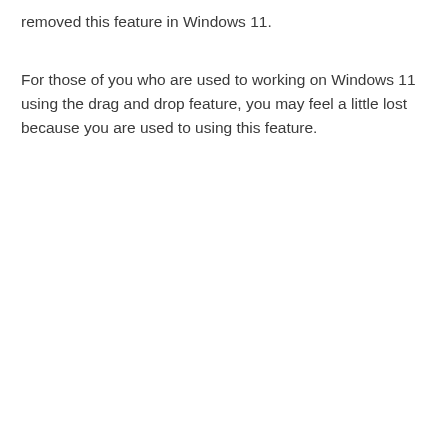removed this feature in Windows 11.
For those of you who are used to working on Windows 11 using the drag and drop feature, you may feel a little lost because you are used to using this feature.